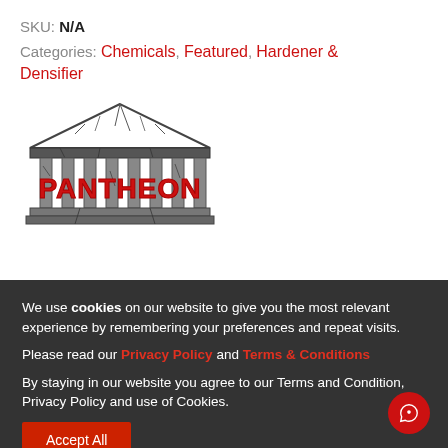SKU: N/A
Categories: Chemicals, Featured, Hardener & Densifier
[Figure (logo): Pantheon logo — a Greek temple illustration in dark ink with the word PANTHEON in bold red runic-style lettering across the facade]
We use cookies on our website to give you the most relevant experience by remembering your preferences and repeat visits.
Please read our Privacy Policy and Terms & Conditions
By staying in our website you agree to our Terms and Condition, Privacy Policy and use of Cookies.
Accept All